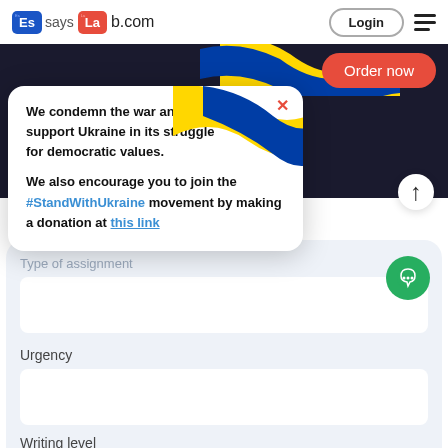[Figure (logo): EssaysLab.com logo with blue 'Es' and red 'La' periodic-element style tiles]
Login
[Figure (illustration): Ukrainian flag ribbon/wave graphic in yellow and blue]
Order now
eeds ranging from the king officials such as ense. The work and npasses
We condemn the war and support Ukraine in its struggle for democratic values.

We also encourage you to join the #StandWithUkraine movement by making a donation at this link
Type of assignment
Urgency
Writing level